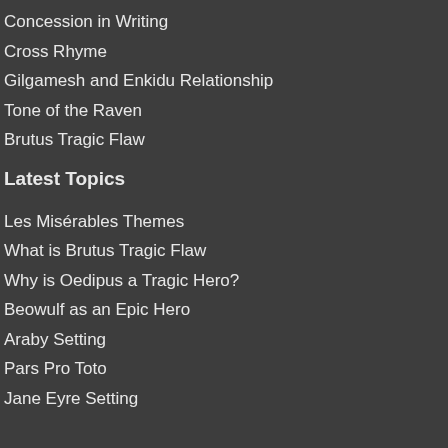Concession in Writing
Cross Rhyme
Gilgamesh and Enkidu Relationship
Tone of the Raven
Brutus Tragic Flaw
Latest Topics
Les Misérables Themes
What is Brutus Tragic Flaw
Why is Oedipus a Tragic Hero?
Beowulf as an Epic Hero
Araby Setting
Pars Pro Toto
Jane Eyre Setting